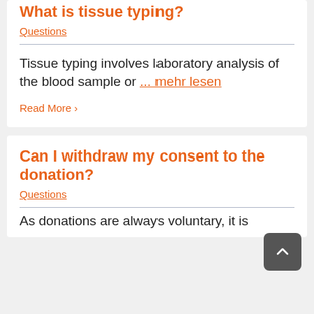What is tissue typing?
Questions
Tissue typing involves laboratory analysis of the blood sample or ... mehr lesen
Read More >
Can I withdraw my consent to the donation?
Questions
As donations are always voluntary, it is